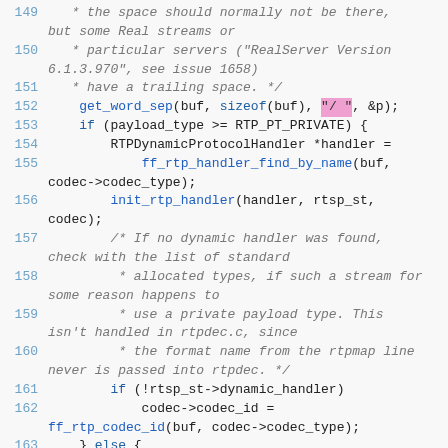Source code listing, lines 149-164, showing RTP/RTSP codec handling logic in C
[Figure (screenshot): Code editor screenshot showing C source code lines 149-164 with syntax highlighting. Functions in blue, comments in gray italic, one string highlighted in pink.]